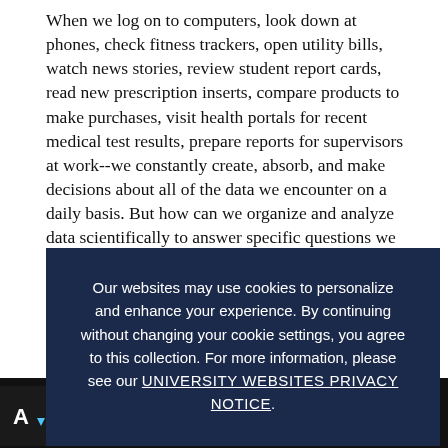When we log on to computers, look down at phones, check fitness trackers, open utility bills, watch news stories, review student report cards, read new prescription inserts, compare products to make purchases, visit health portals for recent medical test results, prepare reports for supervisors at work--we constantly create, absorb, and make decisions about all of the data we encounter on a daily basis. But how can we organize and analyze data scientifically to answer specific questions we develop? How do we know if accessible data is sufficient, and how do we collect new data if what we can access is not adequate for our purposes? How do we synthesize multiple sources of information and analyze them, both individually and collectively? And how do we interpret the results of our analyses so we can use them to make judgments about the value, worth, and/or success of the change we made, while drafting recommendations about the next st...
Our websites may use cookies to personalize and enhance your experience. By continuing without changing your cookie settings, you agree to this collection. For more information, please see our UNIVERSITY WEBSITES PRIVACY NOTICE.
Enter UConn's RMMS MA Degree Program